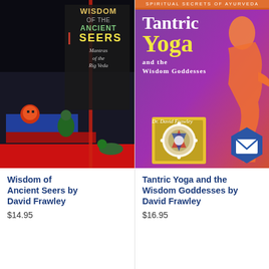[Figure (illustration): Book cover: Wisdom of the Ancient Seers - Mantras of the Rig Veda by David Frawley. Dark/black background with stylized figures, text in yellow/green/tan colors.]
Wisdom of Ancient Seers by David Frawley
$14.95
[Figure (illustration): Book cover: Tantric Yoga and the Wisdom Goddesses by Dr. David Frawley. Purple/orange gradient background with a silhouette of a goddess figure and a Sri Yantra mandala. Header: Spiritual Secrets of Ayurveda.]
Tantric Yoga and the Wisdom Goddesses by David Frawley
$16.95